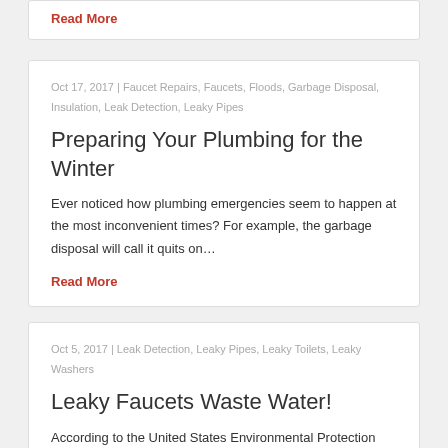Read More
Oct 17, 2017 | Faucet Repairs, Faucets, Floods, Garbage Disposal, Insulation, Leak Detection, Leaky Pipes
Preparing Your Plumbing for the Winter
Ever noticed how plumbing emergencies seem to happen at the most inconvenient times? For example, the garbage disposal will call it quits on…
Read More
Oct 5, 2017 | Leak Detection, Leaky Pipes, Leaky Toilets, Leaky Washers
Leaky Faucets Waste Water!
According to the United States Environmental Protection Agency,